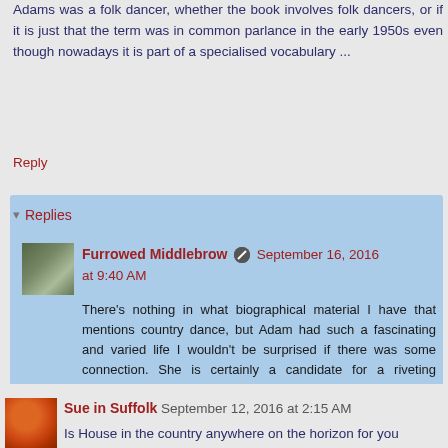Adams was a folk dancer, whether the book involves folk dancers, or if it is just that the term was in common parlance in the early 1950s even though nowadays it is part of a specialised vocabulary ...
Reply
Replies
Furrowed Middlebrow  September 16, 2016 at 9:40 AM
There's nothing in what biographical material I have that mentions country dance, but Adam had such a fascinating and varied life I wouldn't be surprised if there was some connection. She is certainly a candidate for a riveting biography!
Reply
Sue in Suffolk  September 12, 2016 at 2:15 AM
Is House in the country anywhere on the horizon for you